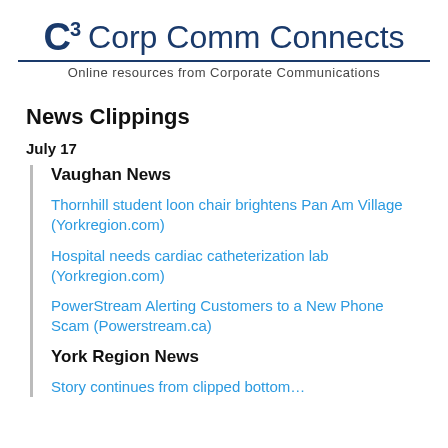C³ Corp Comm Connects — Online resources from Corporate Communications
News Clippings
July 17
Vaughan News
Thornhill student loon chair brightens Pan Am Village (Yorkregion.com)
Hospital needs cardiac catheterization lab (Yorkregion.com)
PowerStream Alerting Customers to a New Phone Scam (Powerstream.ca)
York Region News
Story continues from clipped bottom...